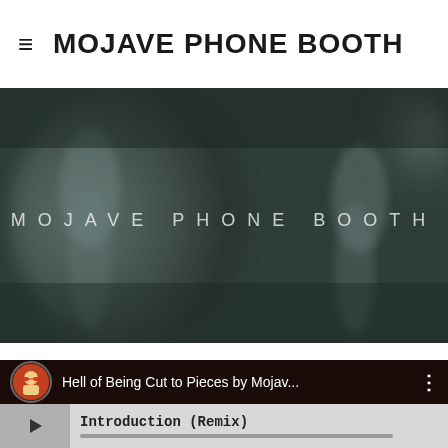≡ MOJAVE PHONE BOOTH
[Figure (photo): Dark blurred background image with text 'MOJAVE PHONE BOOTH' in spaced white letters overlaid on a dark greenish-grey scene showing shadowy figures]
[Figure (screenshot): Music player bar showing album art thumbnail with red glasses character, text 'Hell of Being Cut to Pieces by Mojav...' with a three-dot menu icon, and below a play button with track name 'Introduction (Remix)' and a progress bar]